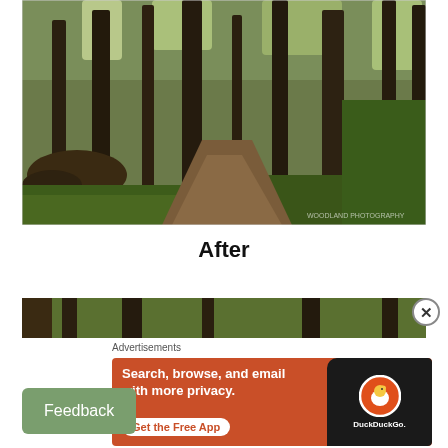[Figure (photo): Forest path with tall trees, fallen logs on left, green foliage, dirt trail leading through the woods. Watermark in bottom right corner.]
After
[Figure (photo): Partial second forest photo visible as a banner strip at the top of the lower section.]
Advertisements
[Figure (screenshot): DuckDuckGo advertisement on orange/red background. Text: Search, browse, and email with more privacy. Get the Free App. Shows DuckDuckGo logo on a phone graphic.]
Feedback